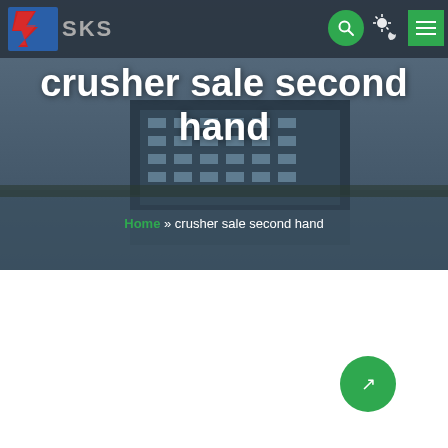[Figure (screenshot): SKS company logo with red and blue diagonal S shape and grey SKS text on dark navbar]
crusher sale second hand
Home » crusher sale second hand
[Figure (photo): Industrial VSI cone crusher machine, dark grey metal, photographed from front-slightly elevated angle on white background]
US Crush & Screen- New & Used Crushers